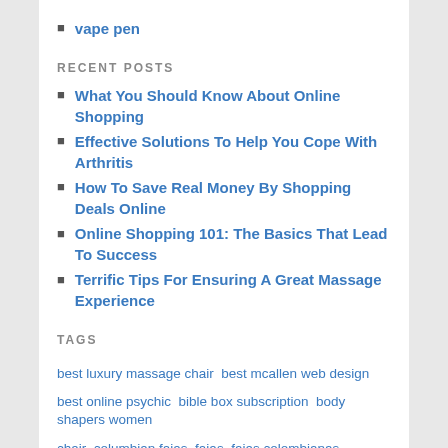vape pen
RECENT POSTS
What You Should Know About Online Shopping
Effective Solutions To Help You Cope With Arthritis
How To Save Real Money By Shopping Deals Online
Online Shopping 101: The Basics That Lead To Success
Terrific Tips For Ensuring A Great Massage Experience
TAGS
best luxury massage chair  best mcallen web design  best online psychic  bible box subscription  body shapers women  chair  columbian fajas  fajas  fajas colombianas postparto  magnetic eyelashes review  massage chair on sale  natural pain relief cream  reductora fajas  Shih Tzu Cup  shih tzu quotes  solar panel installation mcallen tx  solar power mcallen texas  vape pen